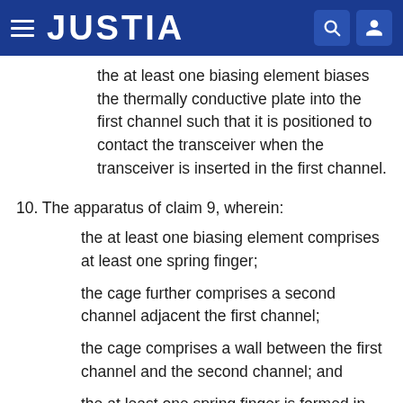JUSTIA
the at least one biasing element biases the thermally conductive plate into the first channel such that it is positioned to contact the transceiver when the transceiver is inserted in the first channel.
10. The apparatus of claim 9, wherein:
the at least one biasing element comprises at least one spring finger;
the cage further comprises a second channel adjacent the first channel;
the cage comprises a wall between the first channel and the second channel; and
the at least one spring finger is formed in the wall between the first channel from the second